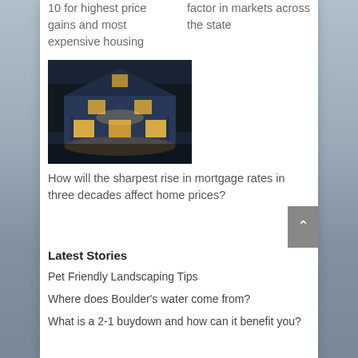10 for highest price gains and most expensive housing
factor in markets across the state
[Figure (photo): Night-time photo of a large blue Victorian house with lit windows]
How will the sharpest rise in mortgage rates in three decades affect home prices?
Latest Stories
Pet Friendly Landscaping Tips
Where does Boulder's water come from?
What is a 2-1 buydown and how can it benefit you?